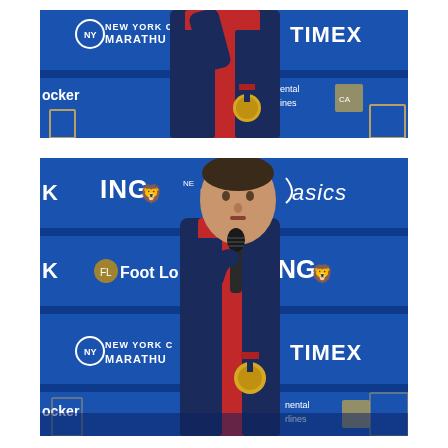[Figure (photo): Top cropped photo of a man wearing a navy and red jacket with a gold medal, standing in front of a blue sponsor backdrop showing New York City Marathon, TIMEX, ING, Foot Locker, Continental Airlines logos.]
[Figure (photo): Full photo of the same man speaking into a microphone, wearing a navy and red jacket with a gold medal, standing in front of a blue sponsor backdrop showing ING, New York City Marathon, ASICS, Foot Locker, TIMEX logos at a press conference.]